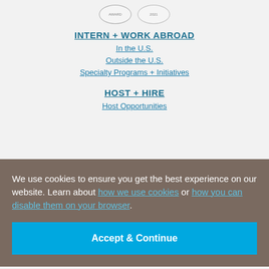[Figure (other): Two circular badge/seal icons at the top of the page]
INTERN + WORK ABROAD
In the U.S.
Outside the U.S.
Specialty Programs + Initiatives
HOST + HIRE
Host Opportunities
We use cookies to ensure you get the best experience on our website. Learn about how we use cookies or how you can disable them on your browser.
Accept & Continue